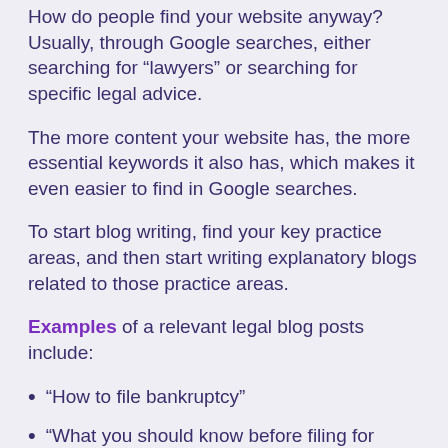How do people find your website anyway? Usually, through Google searches, either searching for “lawyers” or searching for specific legal advice.
The more content your website has, the more essential keywords it also has, which makes it even easier to find in Google searches.
To start blog writing, find your key practice areas, and then start writing explanatory blogs related to those practice areas.
Examples of a relevant legal blog posts include:
“How to file bankruptcy”
“What you should know before filing for